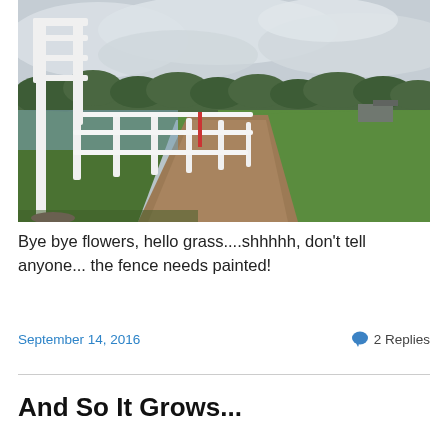[Figure (photo): Outdoor farm or equestrian property photo showing a white wooden fence with pergola/arbor structure on the left, a dirt path running between the fence and green grass lawn, with green trees and overcast sky in the background, and farm buildings visible in the far right distance.]
Bye bye flowers, hello grass....shhhhh, don't tell anyone...the fence needs painted!
September 14, 2016    2 Replies
And So It Grows...